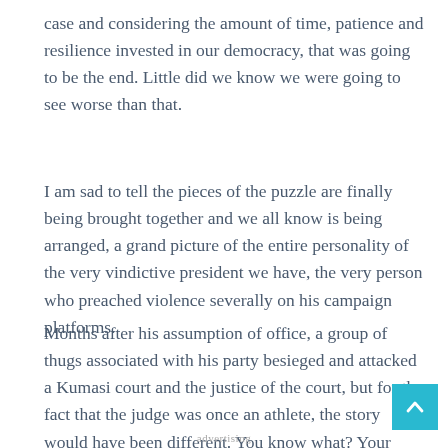case and considering the amount of time, patience and resilience invested in our democracy, that was going to be the end. Little did we know we were going to see worse than that.
I am sad to tell the pieces of the puzzle are finally being brought together and we all know is being arranged, a grand picture of the entire personality of the very vindictive president we have, the very person who preached violence severally on his campaign platforms.
Months after his assumption of office, a group of thugs associated with his party besieged and attacked a Kumasi court and the justice of the court, but for the fact that the judge was once an athlete, the story would have been different. You know what? Your president, a supposed human right lawyer watched this go.
[Figure (other): Back to top button — cyan/teal square with upward-pointing chevron arrow]
advertising